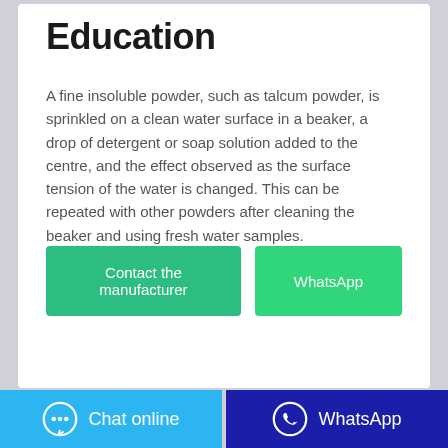Education
A fine insoluble powder, such as talcum powder, is sprinkled on a clean water surface in a beaker, a drop of detergent or soap solution added to the centre, and the effect observed as the surface tension of the water is changed. This can be repeated with other powders after cleaning the beaker and using fresh water samples.
[Figure (other): Two buttons: 'Contact the manufacturer' (green) and 'WhatsApp' (green)]
[Figure (other): Footer bar with two buttons: 'Chat online' (light blue with chat icon) and 'WhatsApp' (dark blue with WhatsApp icon)]